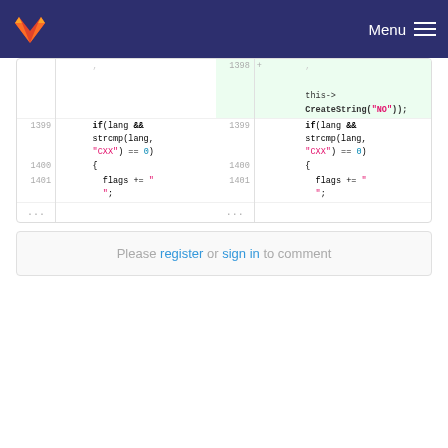GitLab navigation bar with logo and Menu
[Figure (screenshot): Diff view showing code comparison with line numbers 1398-1401 on both sides. Left side shows original C++ code with if(lang && strcmp(lang, "CXX") == 0) block and flags += lines. Right side shows added lines including this->CreateString("NO")); with green highlight on 1398 added line.]
Please register or sign in to comment